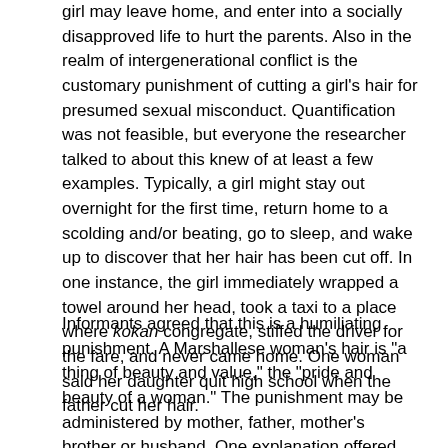girl may leave home, and enter into a socially disapproved life to hurt the parents. Also in the realm of intergenerational conflict is the customary punishment of cutting a girl's hair for presumed sexual misconduct. Quantification was not feasible, but everyone the researcher talked to about this knew of at least a few examples. Typically, a girl might stay out overnight for the first time, return home to a scolding and/or beating, go to sleep, and wake up to discover that her hair has been cut off. In one instance, the girl immediately wrapped a towel around her head, took a taxi to a place where kokan congregate, stiffed the driver for the fare, and never came home. One woman said her daughter quit high school when the father cut her hair.
Informants agreed that this is a humiliating punishment. A Marshallese woman's hair is "a thing of beauty and value," the "pride and beauty of a woman." The punishment may be administered by mother, father, mother's brother or husband. One explanation offered was restriction. The newly shorn person would be two embarrassed to leave home. If this is the primary purpose, the custom is counter-productive, for it drives the punished one away rather than keeping her home. The origin of the custom is unclear. The Japanese shaved or cut people's hair as a